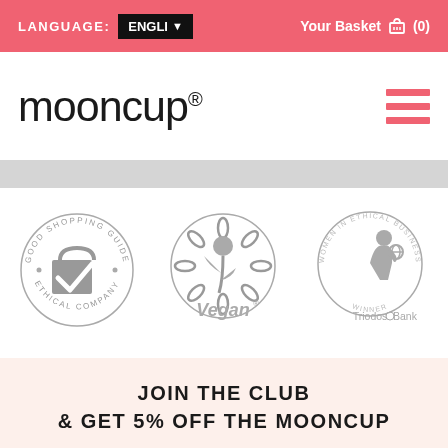LANGUAGE: ENGLI ▼   Your Basket 🛒 (0)
[Figure (logo): Mooncup logo with registered trademark symbol]
[Figure (infographic): Three certification badges: Good Shopping Guide Ethical Company, Vegan (sunflower logo), and Triodos Bank Women in Ethical Business Awards Winner]
JOIN THE CLUB
& GET 5% OFF THE MOONCUP